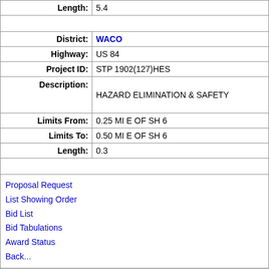| Length: | 5.4 |
|  |  |
| District: | WACO |
| Highway: | US 84 |
| Project ID: | STP 1902(127)HES |
| Description: | HAZARD ELIMINATION & SAFETY |
| Limits From: | 0.25 MI E OF SH 6 |
| Limits To: | 0.50 MI E OF SH 6 |
| Length: | 0.3 |
|  |  |
| Proposal Request
List Showing Order
Bid List
Bid Tabulations
Award Status
Back... |  |
| CCSJ: 0162-01-094 |  |
| District: | WACO |
| Highway: | US 84 |